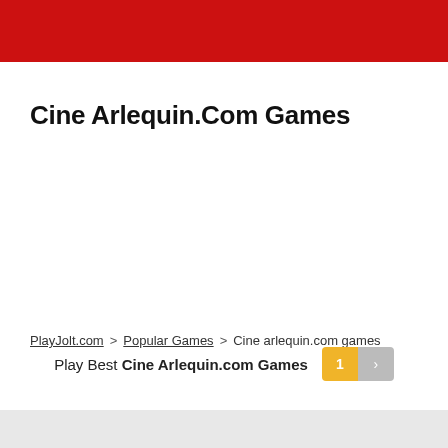Cine Arlequin.Com Games
PlayJolt.com > Popular Games > Cine arlequin.com games
Play Best Cine Arlequin.com Games  1  >